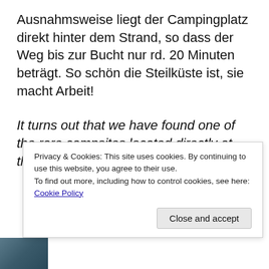Ausnahmsweise liegt der Campingplatz direkt hinter dem Strand, so dass der Weg bis zur Bucht nur rd. 20 Minuten beträgt. So schön die Steilküste ist, sie macht Arbeit!
It turns out that we have found one of the rare campsites located directly at the shore. 20 minutes on steep paths are as close to the sea as we can get, with positive sidelights to our fitness...
Privacy & Cookies: This site uses cookies. By continuing to use this website, you agree to their use.
To find out more, including how to control cookies, see here: Cookie Policy